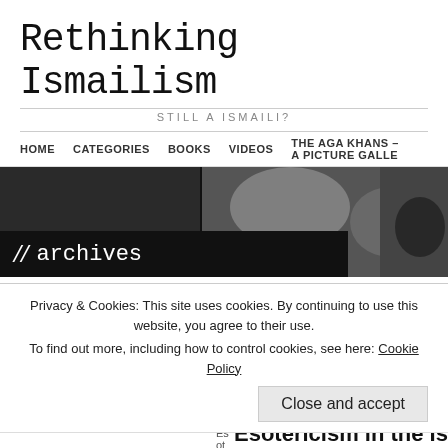Rethinking Ismailism
STILL A ISMAILI?
HOME   CATEGORIES   BOOKS   VIDEOS   THE AGA KHANS – A PICTURE GALLE
[Figure (photo): Black and white banner image with archives overlay text]
esoterism
This tag is associated with 3
Esotericism in the Ismaili Tr System of Four Roots
POSTED BY AKBAR KHOJA · APRIL 20, 2016 · 1 C
Privacy & Cookies: This site uses cookies. By continuing to use this website, you agree to their use.
To find out more, including how to control cookies, see here: Cookie Policy
Close and accept
Esotericism in the Ismaili Tr